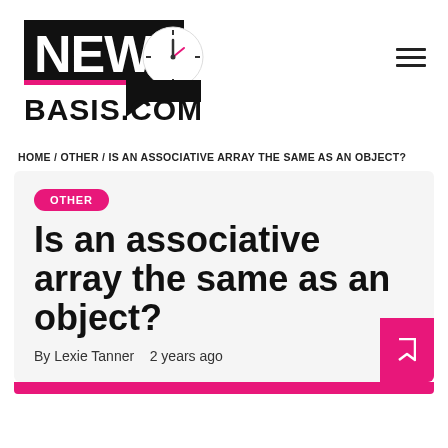[Figure (logo): NewsBasis.com logo with clock icon and speech bubble]
HOME / OTHER / IS AN ASSOCIATIVE ARRAY THE SAME AS AN OBJECT?
Is an associative array the same as an object?
By Lexie Tanner   2 years ago